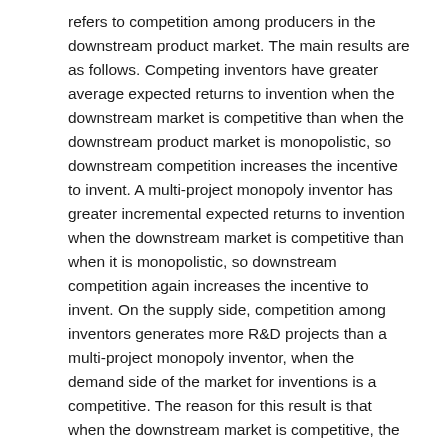refers to competition among producers in the downstream product market. The main results are as follows. Competing inventors have greater average expected returns to invention when the downstream market is competitive than when the downstream product market is monopolistic, so downstream competition increases the incentive to invent. A multi-project monopoly inventor has greater incremental expected returns to invention when the downstream market is competitive than when it is monopolistic, so downstream competition again increases the incentive to invent. On the supply side, competition among inventors generates more R&D projects than a multi-project monopoly inventor, when the demand side of the market for inventions is a competitive. The reason for this result is that when the downstream market is competitive, the average expected returns to invention with competition among inventors are greater than the incremental expected returns to invention with a multi-project monopoly inventor.
Type
Article